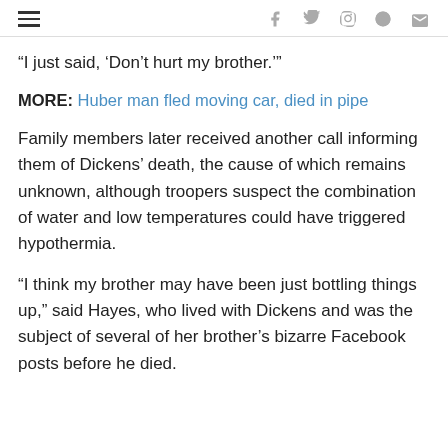≡  f  𝒻  p  reddit  ✉
“I just said, ‘Don’t hurt my brother.’”
MORE: Huber man fled moving car, died in pipe
Family members later received another call informing them of Dickens’ death, the cause of which remains unknown, although troopers suspect the combination of water and low temperatures could have triggered hypothermia.
“I think my brother may have been just bottling things up,” said Hayes, who lived with Dickens and was the subject of several of her brother’s bizarre Facebook posts before he died.